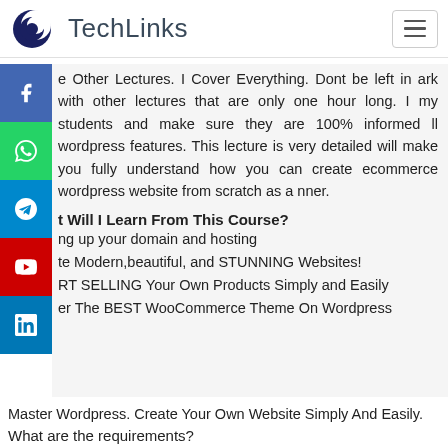[Figure (logo): TechLinks logo with crescent/globe icon and text TechLinks]
e Other Lectures. I Cover Everything. Dont be left in ark with other lectures that are only one hour long. I my students and make sure they are 100% informed ll wordpress features. This lecture is very detailed will make you fully understand how you can create ecommerce wordpress website from scratch as a nner.
t Will I Learn From This Course?
ng up your domain and hosting
te Modern,beautiful, and STUNNING Websites!
RT SELLING Your Own Products Simply and Easily
er The BEST WooCommerce Theme On Wordpress
Master Wordpress. Create Your Own Website Simply And Easily.
What are the requirements?